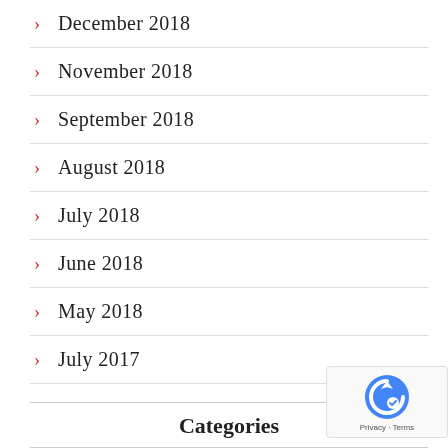December 2018
November 2018
September 2018
August 2018
July 2018
June 2018
May 2018
July 2017
Categories